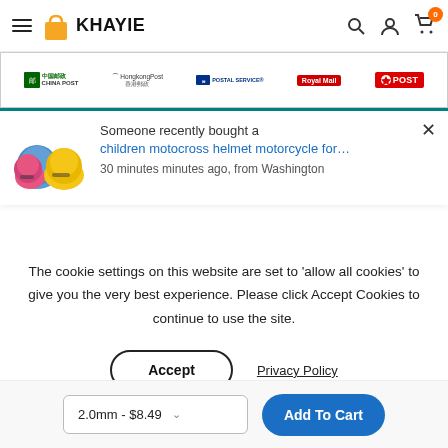KHAYIE — hamburger menu, search, account, cart (0)
[Figure (screenshot): Shipping carrier logos: China Post, HongkongPost, US Postal Service, Royal Mail, Australia Post]
[Figure (photo): Children motocross helmets in blue, pink, yellow colors]
Someone recently bought a children motocross helmet motorcycle for... 30 minutes minutes ago, from Washington
The cookie settings on this website are set to 'allow all cookies' to give you the very best experience. Please click Accept Cookies to continue to use the site.
Accept
Privacy Policy
2.0mm - $8.49
Add To Cart